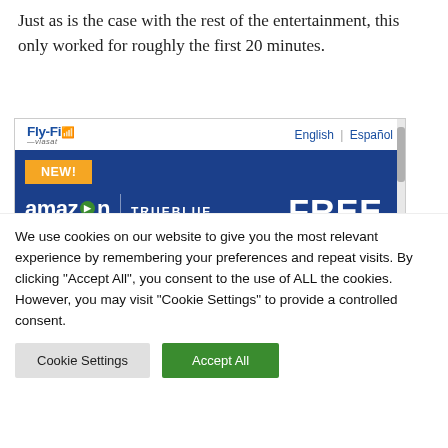Just as is the case with the rest of the entertainment, this only worked for roughly the first 20 minutes.
[Figure (screenshot): Screenshot of Fly-Fi (Viasat) in-flight WiFi portal showing Amazon TrueBlue FREE promotion with an orange NEW! badge on a dark blue background. Top bar shows Fly-Fi logo and English/Español language options.]
We use cookies on our website to give you the most relevant experience by remembering your preferences and repeat visits. By clicking "Accept All", you consent to the use of ALL the cookies. However, you may visit "Cookie Settings" to provide a controlled consent.